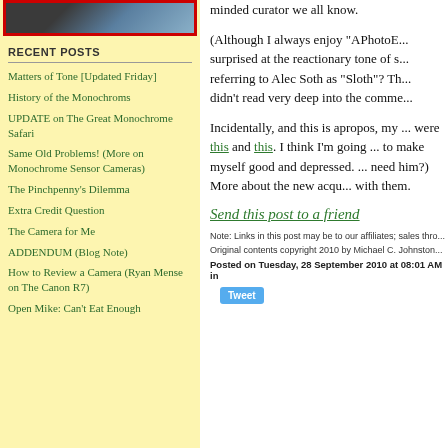[Figure (photo): Partial photo at top of left sidebar, appears to show a person or animal, framed with red border]
RECENT POSTS
Matters of Tone [Updated Friday]
History of the Monochroms
UPDATE on The Great Monochrome Safari
Same Old Problems! (More on Monochrome Sensor Cameras)
The Pinchpenny's Dilemma
Extra Credit Question
The Camera for Me
ADDENDUM (Blog Note)
How to Review a Camera (Ryan Mense on The Canon R7)
Open Mike: Can't Eat Enough
minded curator we all know.

(Although I always enjoy "APhotoE... surprised at the reactionary tone of s... referring to Alec Soth as "Sloth"? Th... didn't read very deep into the comme...

Incidentally, and this is apropos, my ... were this and this. I think I'm going ... to make myself good and depressed. ... need him?) More about the new acqu... with them.
Send this post to a friend
Note: Links in this post may be to our affiliates; sales thro...
Original contents copyright 2010 by Michael C. Johnston...
Posted on Tuesday, 28 September 2010 at 08:01 AM in...